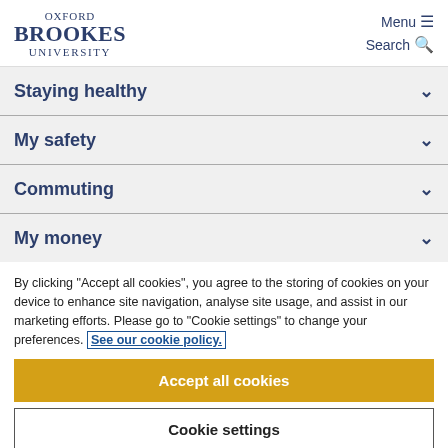OXFORD BROOKES UNIVERSITY | Menu | Search
Staying healthy
My safety
Commuting
My money
By clicking "Accept all cookies", you agree to the storing of cookies on your device to enhance site navigation, analyse site usage, and assist in our marketing efforts. Please go to "Cookie settings" to change your preferences. See our cookie policy.
Accept all cookies
Cookie settings